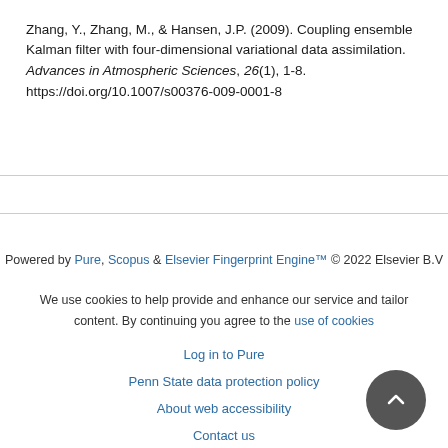Zhang, Y., Zhang, M., & Hansen, J.P. (2009). Coupling ensemble Kalman filter with four-dimensional variational data assimilation. Advances in Atmospheric Sciences, 26(1), 1-8. https://doi.org/10.1007/s00376-009-0001-8
Powered by Pure, Scopus & Elsevier Fingerprint Engine™ © 2022 Elsevier B.V
We use cookies to help provide and enhance our service and tailor content. By continuing you agree to the use of cookies
Log in to Pure
Penn State data protection policy
About web accessibility
Contact us